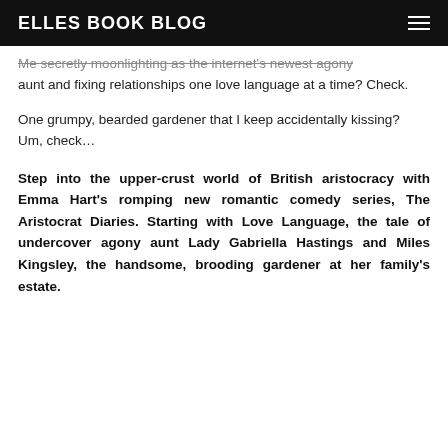ELLES BOOK BLOG
Me secretly moonlighting as the internet's newest agony aunt and fixing relationships one love language at a time? Check.
One grumpy, bearded gardener that I keep accidentally kissing?
Um, check...
Step into the upper-crust world of British aristocracy with Emma Hart's romping new romantic comedy series, The Aristocrat Diaries. Starting with Love Language, the tale of undercover agony aunt Lady Gabriella Hastings and Miles Kingsley, the handsome, brooding gardener at her family's estate.